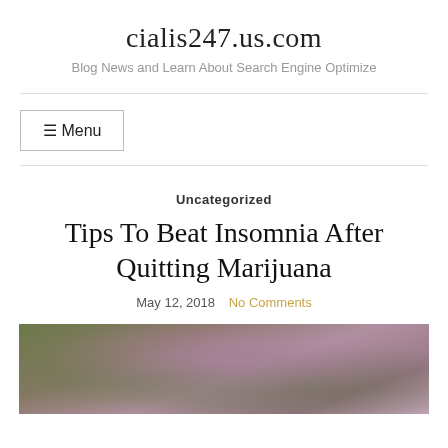cialis247.us.com
Blog News and Learn About Search Engine Optimize
≡ Menu
Uncategorized
Tips To Beat Insomnia After Quitting Marijuana
May 12, 2018   No Comments
[Figure (photo): Close-up photo of a marijuana/cannabis plant with purple and green buds]